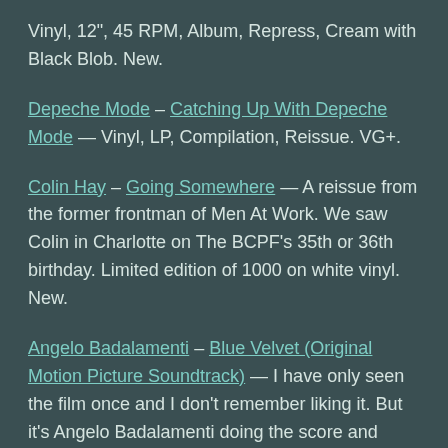Vinyl, 12", 45 RPM, Album, Repress, Cream with Black Blob. New.
Depeche Mode – Catching Up With Depeche Mode — Vinyl, LP, Compilation, Reissue. VG+.
Colin Hay – Going Somewhere — A reissue from the former frontman of Men At Work. We saw Colin in Charlotte on The BCPF's 35th or 36th birthday. Limited edition of 1000 on white vinyl. New.
Angelo Badalamenti – Blue Velvet (Original Motion Picture Soundtrack) — I have only seen the film once and I don't remember liking it. But it's Angelo Badalamenti doing the score and such. He also did the Twin Peaks theme